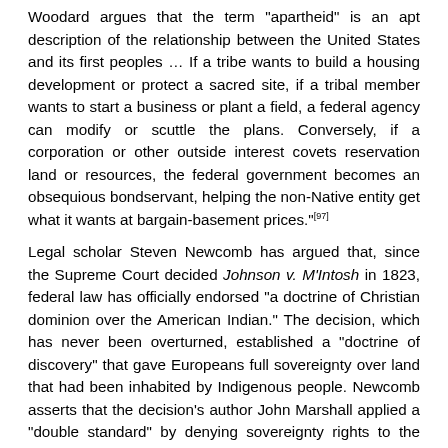Woodard argues that the term "apartheid" is an apt description of the relationship between the United States and its first peoples … If a tribe wants to build a housing development or protect a sacred site, if a tribal member wants to start a business or plant a field, a federal agency can modify or scuttle the plans. Conversely, if a corporation or other outside interest covets reservation land or resources, the federal government becomes an obsequious bondservant, helping the non-Native entity get what it wants at bargain-basement prices."[97]
Legal scholar Steven Newcomb has argued that, since the Supreme Court decided Johnson v. M'Intosh in 1823, federal law has officially endorsed "a doctrine of Christian dominion over the American Indian." The decision, which has never been overturned, established a "doctrine of discovery" that gave Europeans full sovereignty over land that had been inhabited by Indigenous people. Newcomb asserts that the decision's author John Marshall applied a "double standard" by denying sovereignty rights to the prior and original discoverers. Based on the decision's reference to the discovery rights of "Christian people" and on the account of Marshall's Supreme Court